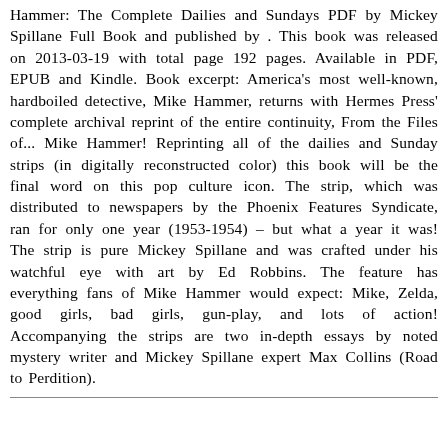Hammer: The Complete Dailies and Sundays PDF by Mickey Spillane Full Book and published by . This book was released on 2013-03-19 with total page 192 pages. Available in PDF, EPUB and Kindle. Book excerpt: America's most well-known, hardboiled detective, Mike Hammer, returns with Hermes Press' complete archival reprint of the entire continuity, From the Files of... Mike Hammer! Reprinting all of the dailies and Sunday strips (in digitally reconstructed color) this book will be the final word on this pop culture icon. The strip, which was distributed to newspapers by the Phoenix Features Syndicate, ran for only one year (1953-1954) – but what a year it was! The strip is pure Mickey Spillane and was crafted under his watchful eye with art by Ed Robbins. The feature has everything fans of Mike Hammer would expect: Mike, Zelda, good girls, bad girls, gun-play, and lots of action! Accompanying the strips are two in-depth essays by noted mystery writer and Mickey Spillane expert Max Collins (Road to Perdition).